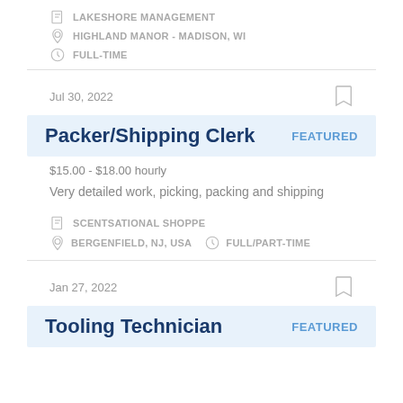LAKESHORE MANAGEMENT
HIGHLAND MANOR - MADISON, WI
FULL-TIME
Jul 30, 2022
Packer/Shipping Clerk
FEATURED
$15.00 - $18.00 hourly
Very detailed work, picking, packing and shipping
SCENTSATIONAL SHOPPE
BERGENFIELD, NJ, USA
FULL/PART-TIME
Jan 27, 2022
Tooling Technician
FEATURED